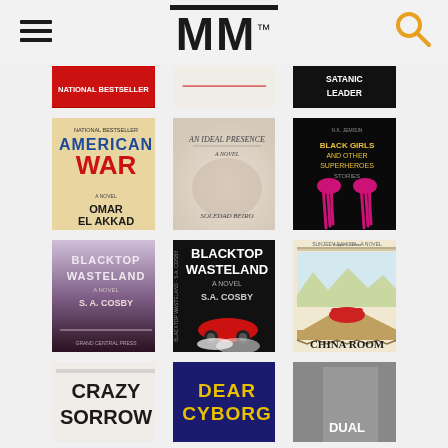MM (Moby's Magazine) logo with hamburger menu and search icon
[Figure (screenshot): Grid of book covers displayed on a book/magazine website. Row 1 (partial, cropped at top): red book, white/cream book, dark book with 'SATANIC LEADER' text. Row 2: American War by Omar El Akkad (red/blue/cream), An Ideal Presence (cream/soft photo), Black Girls and Other Superheroes Stories (black with magenta dripping hands). Row 3: Blacktop Wasteland by S.A. Cosby (purple/dark, paperback), Blacktop Wasteland by S.A. Cosby (black/hardcover with red car), China Room by Sunjeev Sahota (cream/illustrated). Row 4 (partial, cropped at bottom): Crazy Sorrow (light), Dear Cyborg (dark blue), Dual Citizens (grey photo).]